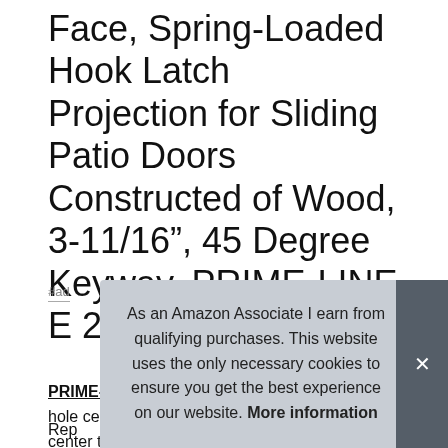Face, Spring-Loaded Hook Latch Projection for Sliding Patio Doors Constructed of Wood, 3-11/16", 45 Degree Keyway, PRIME-LINE E 2014 Mortise Lock
#ad
PRIME-LINE #ad - Product info - the mounting hole centers of this lock measures 3-11/16" from center to center, and the rear of the lock measures 2-3/16" and the front face has tapp...
Rep... mortise lock is broken or old, don't replace the door entirely.
As an Amazon Associate I earn from qualifying purchases. This website uses the only necessary cookies to ensure you get the best experience on our website. More information